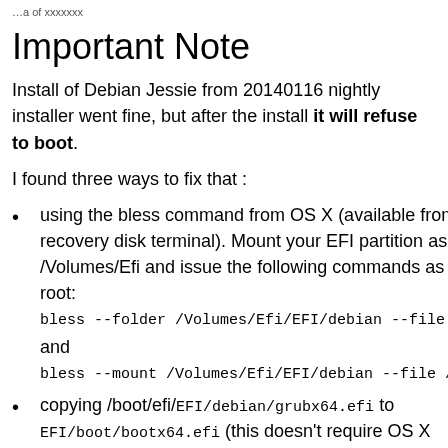…a of xxxxxxx
Important Note
Install of Debian Jessie from 20140116 nightly installer went fine, but after the install it will refuse to boot.
I found three ways to fix that :
using the bless command from OS X (available from a recovery disk terminal). Mount your EFI partition as /Volumes/Efi and issue the following commands as root: bless --folder /Volumes/Efi/EFI/debian --file /V… and bless --mount /Volumes/Efi/EFI/debian --file /Vo…
copying /boot/efi/EFI/debian/grubx64.efi to EFI/boot/bootx64.efi (this doesn't require OS X